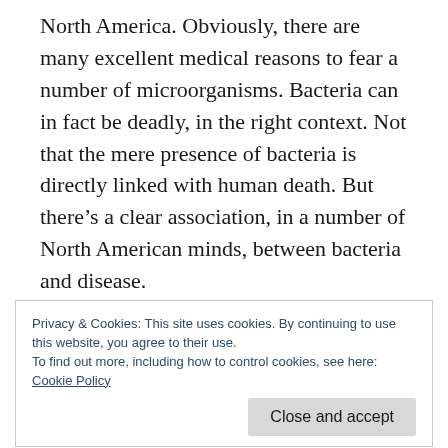North America. Obviously, there are many excellent medical reasons to fear a number of microorganisms. Bacteria can in fact be deadly, in the right context. Not that the mere presence of bacteria is directly linked with human death. But there's a clear association, in a number of North American minds, between bacteria and disease.
As a North American, despite my European background, I tended to perceive bacteria in a
Privacy & Cookies: This site uses cookies. By continuing to use this website, you agree to their use.
To find out more, including how to control cookies, see here:
Cookie Policy
contains a large number of bacterial cells, I